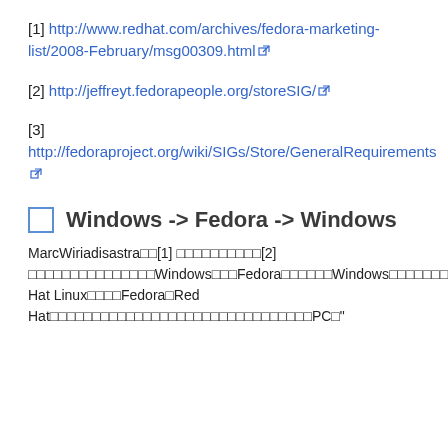[1] http://www.redhat.com/archives/fedora-marketing-list/2008-February/msg00309.html
[2] http://jeffreyt.fedorapeople.org/storeSIG/
[3] http://fedoraproject.org/wiki/SIGs/Store/GeneralRequirements
□ Windows -> Fedora -> Windows
MarcWiriadisastra□□[1] □□□□□□□□□□[2] □□□□□□□□□□□□□□□Windows□□□Fedora□□□□□□Windows□□□□□□□□□□□□□□□□"□□□□□□□□□□□□□□□□□□□□□□□□□Red Hat Linux□□□□Fedora□Red Hat□□□□□□□□□□□□□□□□□□□□□□□□□□□□□□□PC□"